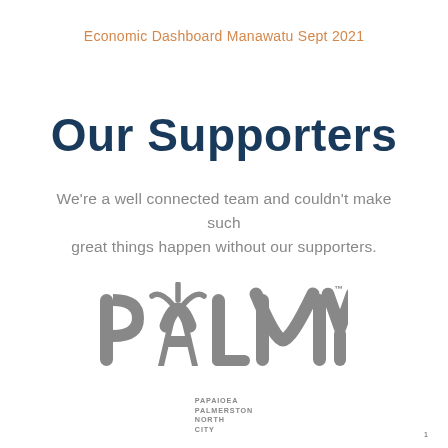Economic Dashboard Manawatu Sept 2021
Our Supporters
We're a well connected team and couldn't make such great things happen without our supporters.
[Figure (logo): PALMY logo — stylized grey lettering with a palm-tree motif in the A, with 'PAPAIOEA PALMERSTON NORTH CITY' in small caps below]
1